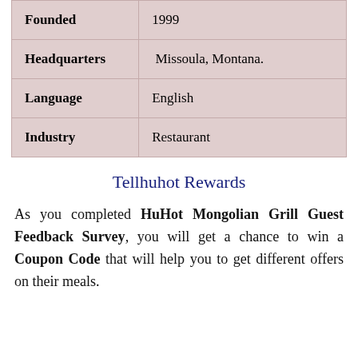| Founded | 1999 |
| Headquarters | Missoula, Montana. |
| Language | English |
| Industry | Restaurant |
Tellhuhot Rewards
As you completed HuHot Mongolian Grill Guest Feedback Survey, you will get a chance to win a Coupon Code that will help you to get different offers on their meals.